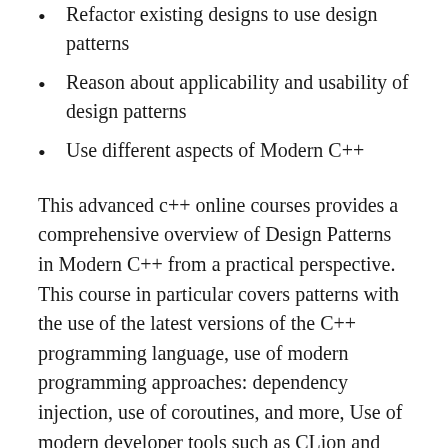Refactor existing designs to use design patterns
Reason about applicability and usability of design patterns
Use different aspects of Modern C++
This advanced c++ online courses provides a comprehensive overview of Design Patterns in Modern C++ from a practical perspective. This course in particular covers patterns with the use of the latest versions of the C++ programming language, use of modern programming approaches: dependency injection, use of coroutines, and more, Use of modern developer tools such as CLion and ReSharper C++, discussions of pattern variations and alternative approaches.
This course also provides an overview of all the Gang of Four (GoF) design patterns together with modern-day